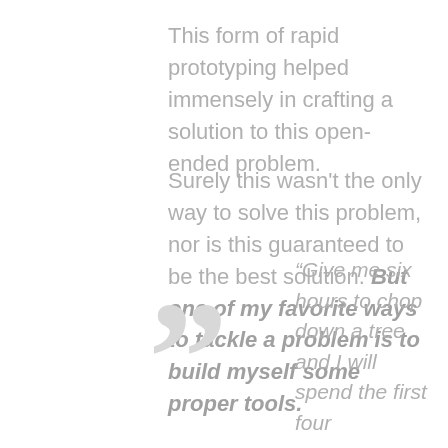This form of rapid prototyping helped immensely in crafting a solution to this open-ended problem.
Surely this wasn't the only way to solve this problem, nor is this guaranteed to be the best solution. But one of my favorite ways to tackle a problem is to build myself some proper tools.
“Give me six hours to chop down a tree and I will spend the first four